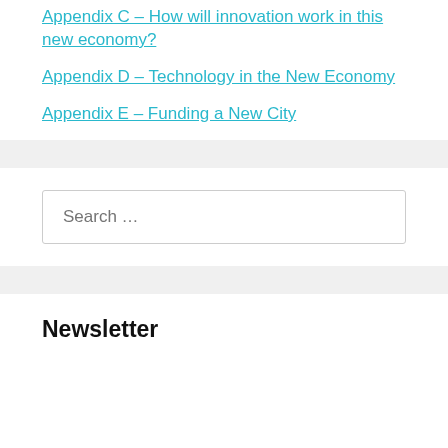Appendix C – How will innovation work in this new economy?
Appendix D – Technology in the New Economy
Appendix E – Funding a New City
Search …
Newsletter